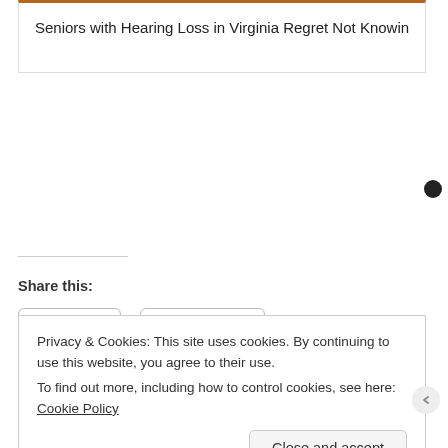[Figure (other): Advertisement card: Seniors with Hearing Loss in Virginia Regret Not Knowing This (truncated)]
Share this:
Twitter
Facebook
Loading...
Privacy & Cookies: This site uses cookies. By continuing to use this website, you agree to their use.
To find out more, including how to control cookies, see here: Cookie Policy
Close and accept